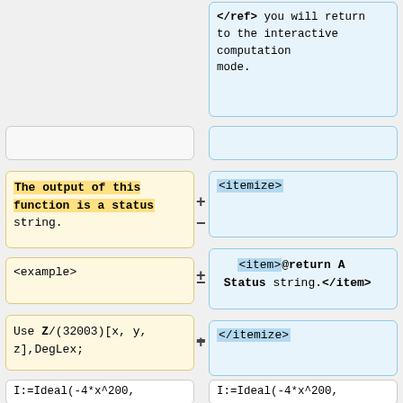</ref> you will return to the interactive computation mode.
The output of this function is a status string.
<itemize>
<example>
<item>@return A Status string.</item>
Use Z/(32003)[x, y, z],DegLex;
</itemize>
<example>
Use ZZ/(32003)[x, y, z],DegLex;
I:=Ideal(-4*x^200, -4*y^2, 5*z^2);
I:=Ideal(-4*x^200, -4*y^2, 5*z^2);